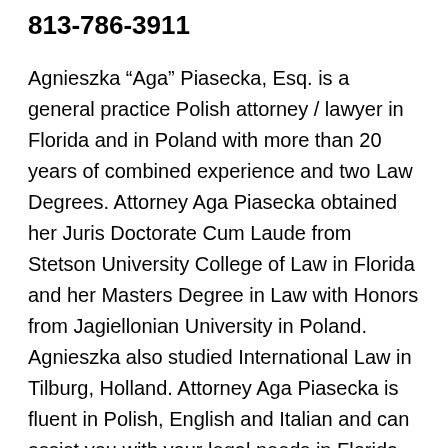813-786-3911
Agnieszka “Aga” Piasecka, Esq. is a general practice Polish attorney / lawyer in Florida and in Poland with more than 20 years of combined experience and two Law Degrees. Attorney Aga Piasecka obtained her Juris Doctorate Cum Laude from Stetson University College of Law in Florida and her Masters Degree in Law with Honors from Jagiellonian University in Poland. Agnieszka also studied International Law in Tilburg, Holland. Attorney Aga Piasecka is fluent in Polish, English and Italian and can assist you with your legal needs in Florida and